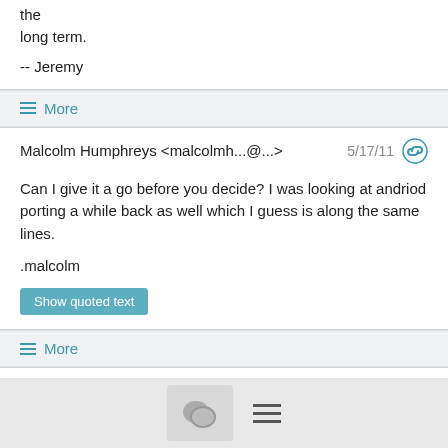the long term.
-- Jeremy
More
Malcolm Humphreys <malcolmh...@...>  5/17/11
Can I give it a go before you decide? I was looking at andriod porting a while back as well which I guess is along the same lines.
.malcolm
Show quoted text
More
Jeremy Selan <jeremy...@...>  5/17/11